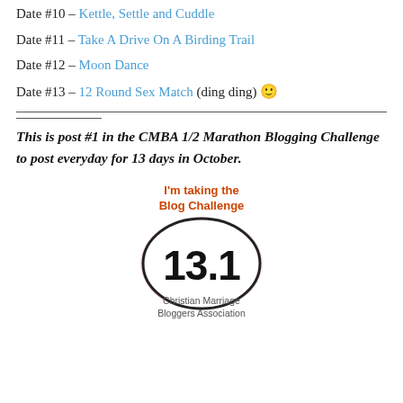Date #10 – Kettle, Settle and Cuddle
Date #11 – Take A Drive On A Birding Trail
Date #12 – Moon Dance
Date #13 – 12 Round Sex Match (ding ding) 🙂
This is post #1 in the CMBA 1/2 Marathon Blogging Challenge to post everyday for 13 days in October.
[Figure (illustration): CMBA 1/2 Marathon Blog Challenge badge with '13.1' in an oval, text 'I'm taking the Blog Challenge' above and 'Christian Marriage Bloggers Association' below, with a pink/red glow effect behind the oval.]